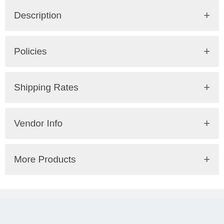Description +
Policies +
Shipping Rates +
Vendor Info +
More Products +